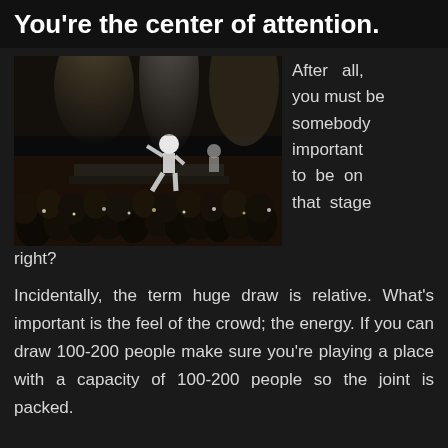You're the center of attention.
[Figure (photo): Concert photo showing a performer on stage lit by bright spotlights with a large crowd in the foreground, taken in a dark venue]
After all, you must be somebody important to be on that stage right?
Incidentally, the term huge draw is relative. What's important is the feel of the crowd; the energy. If you can draw 100-200 people make sure you're playing a place with a capacity of 100-200 people so the joint is packed.